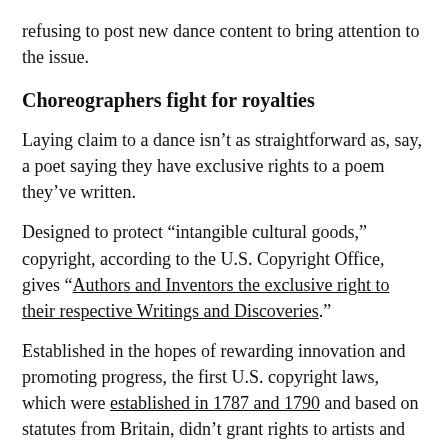refusing to post new dance content to bring attention to the issue.
Choreographers fight for royalties
Laying claim to a dance isn’t as straightforward as, say, a poet saying they have exclusive rights to a poem they’ve written.
Designed to protect “intangible cultural goods,” copyright, according to the U.S. Copyright Office, gives “Authors and Inventors the exclusive right to their respective Writings and Discoveries.”
Established in the hopes of rewarding innovation and promoting progress, the first U.S. copyright laws, which were established in 1787 and 1790 and based on statutes from Britain, didn’t grant rights to artists and dancers. Only writers were protected.